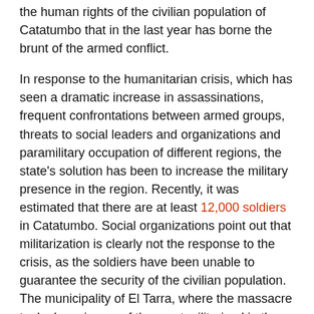the human rights of the civilian population of Catatumbo that in the last year has borne the brunt of the armed conflict.
In response to the humanitarian crisis, which has seen a dramatic increase in assassinations, frequent confrontations between armed groups, threats to social leaders and organizations and paramilitary occupation of different regions, the state's solution has been to increase the military presence in the region. Recently, it was estimated that there are at least 12,000 soldiers in Catatumbo. Social organizations point out that militarization is clearly not the response to the crisis, as the soldiers have been unable to guarantee the security of the civilian population. The municipality of El Tarra, where the massacre took place, is one of the most militarized in the region.
The Committee of Social Integration of Catatumbo (CISCA), a peasant organization in the region, stated